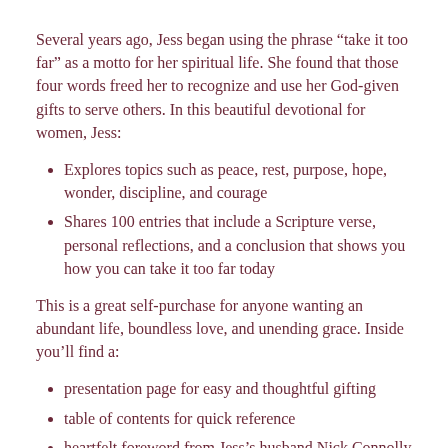Several years ago, Jess began using the phrase “take it too far” as a motto for her spiritual life. She found that those four words freed her to recognize and use her God-given gifts to serve others. In this beautiful devotional for women, Jess:
Explores topics such as peace, rest, purpose, hope, wonder, discipline, and courage
Shares 100 entries that include a Scripture verse, personal reflections, and a conclusion that shows you how you can take it too far today
This is a great self-purchase for anyone wanting an abundant life, boundless love, and unending grace. Inside you’ll find a:
presentation page for easy and thoughtful gifting
table of contents for quick reference
heartfelt foreword from Jess’s husband Nick Connolly
beautiful two-color interior
With the Holy Spirit’s guidance and Jess’s freeing charge, you will be inspired to bring your full self, gifts, and voice to